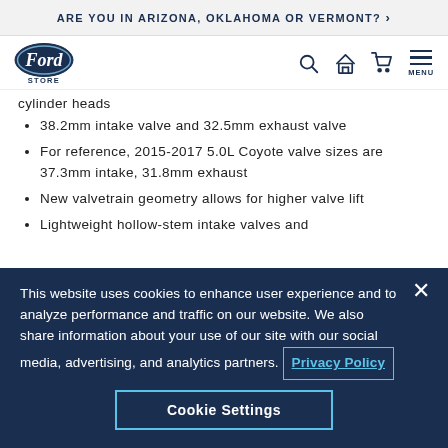ARE YOU IN ARIZONA, OKLAHOMA OR VERMONT? >
[Figure (logo): Ford Store logo with oval Ford emblem and STORE label below, plus navigation icons: search, garage/home, cart, and MENU hamburger icon]
cylinder heads
38.2mm intake valve and 32.5mm exhaust valve
For reference, 2015-2017 5.0L Coyote valve sizes are 37.3mm intake, 31.8mm exhaust
New valvetrain geometry allows for higher valve lift
Lightweight hollow-stem intake valves and
This website uses cookies to enhance user experience and to analyze performance and traffic on our website. We also share information about your use of our site with our social media, advertising, and analytics partners. Privacy Policy
Cookie Settings